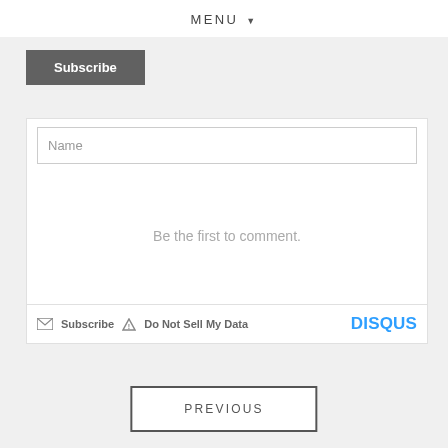MENU ▼
Subscribe
Name
Be the first to comment.
Subscribe  Do Not Sell My Data  DISQUS
PREVIOUS